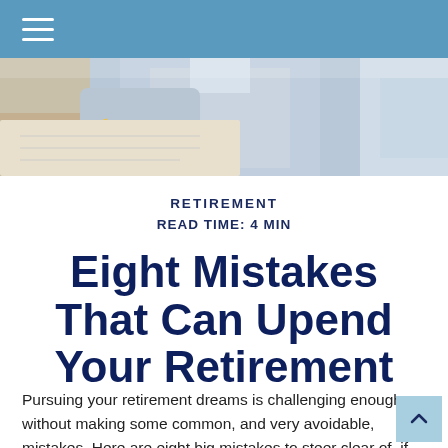[Figure (photo): A person in a light blue shirt writing or working at a desk, photographed from above/side angle.]
RETIREMENT
READ TIME: 4 MIN
Eight Mistakes That Can Upend Your Retirement
Pursuing your retirement dreams is challenging enough without making some common, and very avoidable, mistakes. Here are eight big mistakes to steer clear of, if